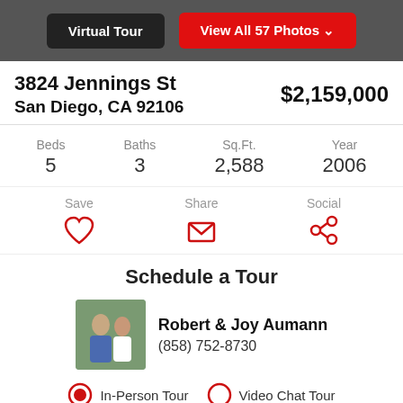[Figure (screenshot): Top navigation bar with Virtual Tour and View All 57 Photos buttons on dark background]
3824 Jennings St
San Diego, CA 92106
$2,159,000
| Beds | Baths | Sq.Ft. | Year |
| --- | --- | --- | --- |
| 5 | 3 | 2,588 | 2006 |
Save   Share   Social
Schedule a Tour
Robert & Joy Aumann
(858) 752-8730
In-Person Tour   Video Chat Tour